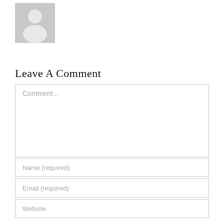[Figure (illustration): Grey default avatar/profile silhouette icon]
Leave A Comment
Comment...
Name (required)
Email (required)
Website
Yes, add me to your mailing list
Check here to Subscribe to notifications for